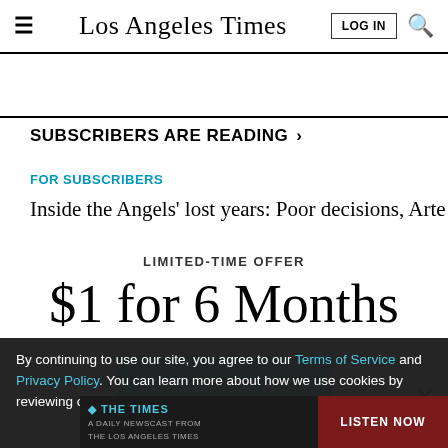Los Angeles Times
SUBSCRIBERS ARE READING >
FOR SUBSCRIBERS
Inside the Angels' lost years: Poor decisions, Arte Moreno's
LIMITED-TIME OFFER
$1 for 6 Months
SUBSCRIBE NOW
By continuing to use our site, you agree to our Terms of Service and Privacy Policy. You can learn more about how we use cookies by reviewing our Privacy Policy. Close